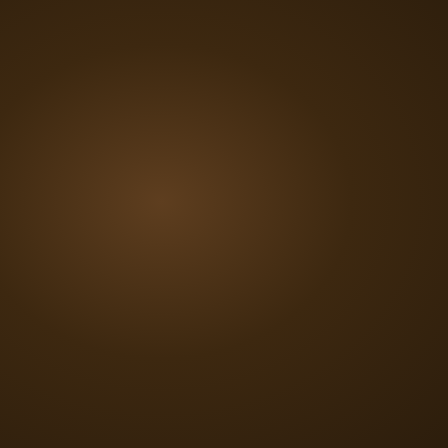GVDammerung
Grandmaster Greytalker
Joined: Aug 05, 2004
Posts: 1446
Send private message
yet still
~basiliv
I didn't c
I merely
Fri Jul 01,
N
T